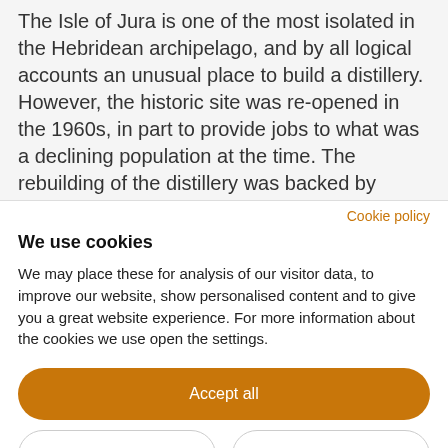The Isle of Jura is one of the most isolated in the Hebridean archipelago, and by all logical accounts an unusual place to build a distillery. However, the historic site was re-opened in the 1960s, in part to provide jobs to what was a declining population at the time. The rebuilding of the distillery was backed by blenders Charles Mackinlay & Co, so like Bruichladdich, despite the island being covered in
Cookie policy
We use cookies
We may place these for analysis of our visitor data, to improve our website, show personalised content and to give you a great website experience. For more information about the cookies we use open the settings.
Accept all
Deny
No, adjust